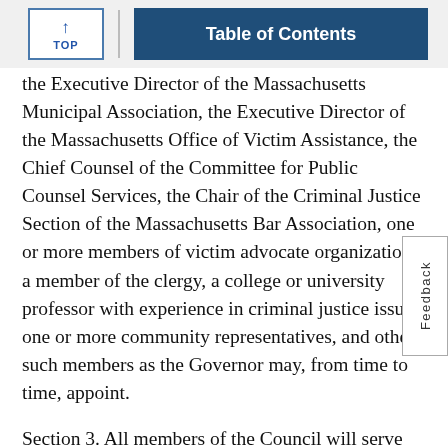TOP | Table of Contents
the Executive Director of the Massachusetts Municipal Association, the Executive Director of the Massachusetts Office of Victim Assistance, the Chief Counsel of the Committee for Public Counsel Services, the Chair of the Criminal Justice Section of the Massachusetts Bar Association, one or more members of victim advocate organizations, a member of the clergy, a college or university professor with experience in criminal justice issues, one or more community representatives, and other such members as the Governor may, from time to time, appoint.
Section 3. All members of the Council will serve without compensation in an advisory capacity and at